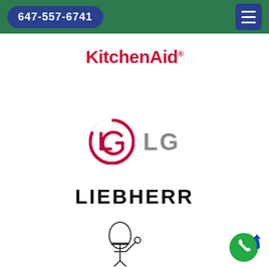647-557-6741
[Figure (logo): KitchenAid logo in bold red text with registered trademark symbol]
[Figure (logo): LG logo — circular pink/red LG symbol with grey LG text]
[Figure (logo): LIEBHERR logo in bold black uppercase letters]
[Figure (logo): Partial chef illustration at bottom left]
[Figure (logo): Floating green phone call button at bottom right]